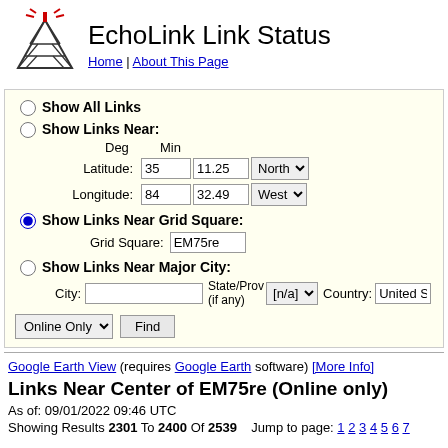EchoLink Link Status
Home | About This Page
Show All Links
Show Links Near:
Latitude: 35 deg 11.25 min North
Longitude: 84 deg 32.49 min West
Show Links Near Grid Square:
Grid Square: EM75re
Show Links Near Major City:
City: State/Prov (if any): [n/a] Country: United S
Online Only Find
Google Earth View (requires Google Earth software) [More Info]
Links Near Center of EM75re (Online only)
As of: 09/01/2022 09:46 UTC
Showing Results 2301 To 2400 Of 2539   Jump to page: 1 2 3 4 5 6 7